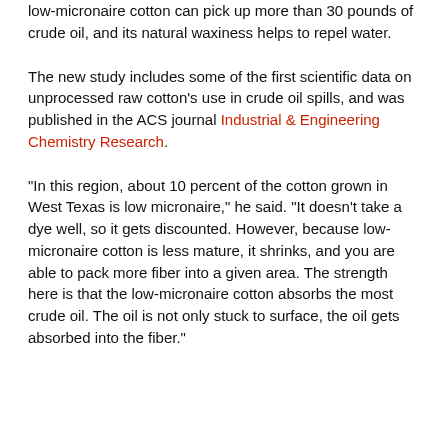low-micronaire cotton can pick up more than 30 pounds of crude oil, and its natural waxiness helps to repel water.
The new study includes some of the first scientific data on unprocessed raw cotton's use in crude oil spills, and was published in the ACS journal Industrial & Engineering Chemistry Research.
"In this region, about 10 percent of the cotton grown in West Texas is low micronaire," he said. "It doesn't take a dye well, so it gets discounted. However, because low-micronaire cotton is less mature, it shrinks, and you are able to pack more fiber into a given area. The strength here is that the low-micronaire cotton absorbs the most crude oil. The oil is not only stuck to surface, the oil gets absorbed into the fiber."